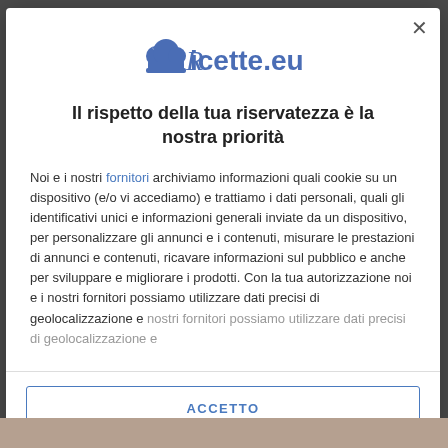[Figure (logo): Ricette.eu logo with chef hat icon and stylized text]
Il rispetto della tua riservatezza è la nostra priorità
Noi e i nostri fornitori archiviamo informazioni quali cookie su un dispositivo (e/o vi accediamo) e trattiamo i dati personali, quali gli identificativi unici e informazioni generali inviate da un dispositivo, per personalizzare gli annunci e i contenuti, misurare le prestazioni di annunci e contenuti, ricavare informazioni sul pubblico e anche per sviluppare e migliorare i prodotti. Con la tua autorizzazione noi e i nostri fornitori possiamo utilizzare dati precisi di geolocalizzazione e
ACCETTO
PIÙ OPZIONI